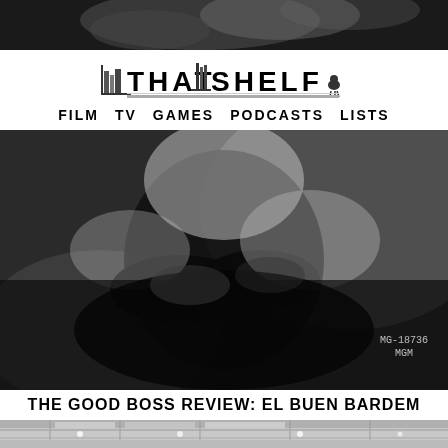[Figure (photo): Black and white photo strip at top showing partial figure in dark clothing]
THAT SHELF — FILM TV GAMES PODCASTS LISTS
[Figure (photo): Black and white photograph of a person in dark clothing sitting, with watermark MG-18736 MGM]
THE GOOD BOSS REVIEW: EL BUEN BARDEM
[Figure (photo): Color photograph at bottom showing interior of a building with large windows and ceiling lights]